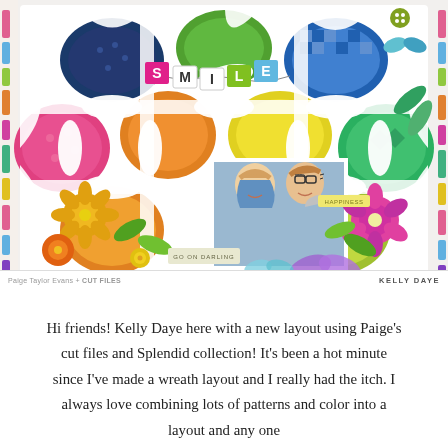[Figure (photo): A colorful scrapbook layout featuring a white lace/doily-style wreath cut file with vibrant patterned papers visible through the openings in rainbow colors (pink, teal, green, yellow, orange, purple, blue). The word 'SMILE' is spelled out in banner-style letters at the top center. In the lower center is a photo of two smiling women (one blonde, one with glasses and auburn hair). The layout is decorated with paper flowers, butterflies, and embellishments in bright colors. A small tag reads 'GO ON DARLING'.]
Paige Taylor Evans + CUT FILES    KELLY DAYE
Hi friends! Kelly Daye here with a new layout using Paige's cut files and Splendid collection! It's been a hot minute since I've made a wreath layout and I really had the itch. I always love combining lots of patterns and color into a layout and any one